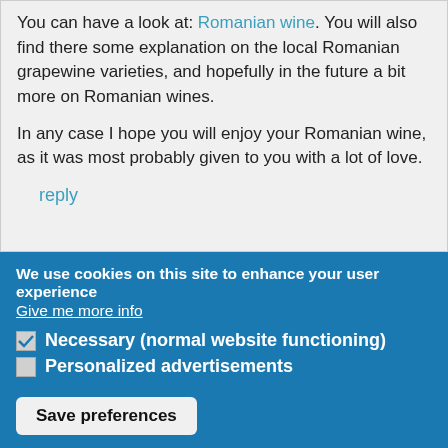You can have a look at: Romanian wine. You will also find there some explanation on the local Romanian grapewine varieties, and hopefully in the future a bit more on Romanian wines.
In any case I hope you will enjoy your Romanian wine, as it was most probably given to you with a lot of love.
reply
We use cookies on this site to enhance your user experience
Give me more info
Necessary (normal website functioning)
Personalized advertisements
Save preferences
Accept all cookies